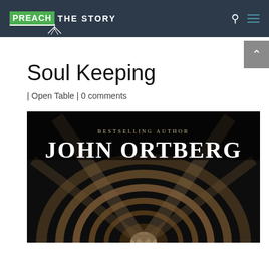PREACH THE STORY
Soul Keeping
| Open Table | 0 comments
[Figure (photo): Book cover for 'Soul Keeping' by bestselling author John Ortberg, showing a dark dramatic architectural interior with a circular staircase rotunda viewed from below, with 'BESTSELLING AUTHOR' in small caps and 'JOHN ORTBERG' in large serif white text at the top.]